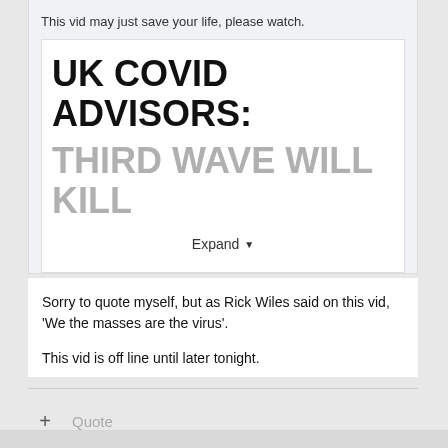This vid may just save your life, please watch.
[Figure (screenshot): Video thumbnail showing bold black text 'UK COVID ADVISORS:' and grey text 'THIRD WAVE WILL KILL' with an Expand button below]
Expand
Sorry to quote myself, but as Rick Wiles said on this vid, 'We the masses are the virus'.
This vid is off line until later tonight.
Quote